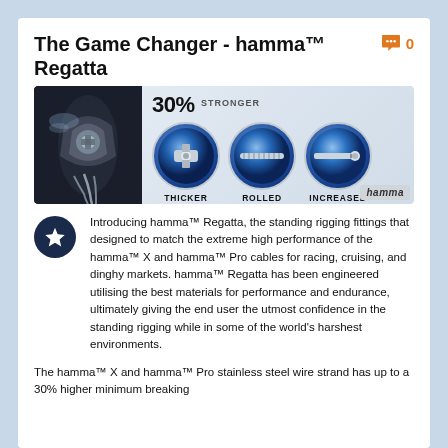The Game Changer - hamma™ Regatta
[Figure (photo): Product promotional image showing hamma Regatta standing rigging fittings: a close-up photo on left of cable fitting, and three circular detail images labeled Thicker Toggle, Rolled Thread, and Increased Swage Depth, with '30% STRONGER' text and hamma logo.]
Introducing hamma™ Regatta, the standing rigging fittings that designed to match the extreme high performance of the hamma™ X and hamma™ Pro cables for racing, cruising, and dinghy markets. hamma™ Regatta has been engineered utilising the best materials for performance and endurance, ultimately giving the end user the utmost confidence in the standing rigging while in some of the world's harshest environments.
The hamma™ X and hamma™ Pro stainless steel wire strand has up to a 30% higher minimum breaking